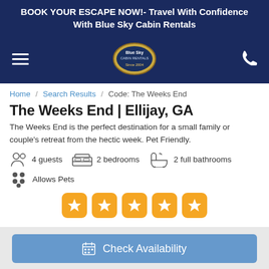BOOK YOUR ESCAPE NOW!- Travel With Confidence With Blue Sky Cabin Rentals
[Figure (logo): Blue Sky Cabin Rentals logo with hamburger menu and phone icon in dark blue navigation bar]
Home / Search Results / Code: The Weeks End
The Weeks End | Ellijay, GA
The Weeks End is the perfect destination for a small family or couple's retreat from the hectic week. Pet Friendly.
4 guests
2 bedrooms
2 full bathrooms
Allows Pets
[Figure (infographic): 5 orange star rating boxes]
Check Availability